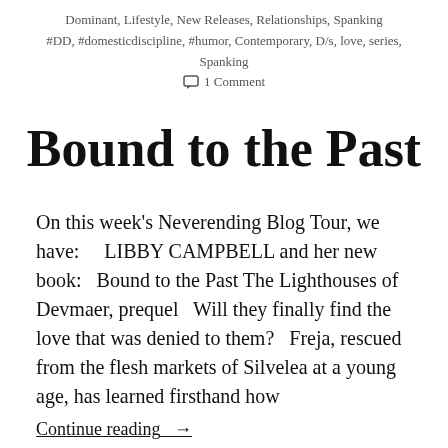Dominant, Lifestyle, New Releases, Relationships, Spanking
#DD, #domesticdiscipline, #humor, Contemporary, D/s, love, series, Spanking
1 Comment
Bound to the Past
On this week's Neverending Blog Tour, we have:    LIBBY CAMPBELL and her new book:   Bound to the Past The Lighthouses of Devmaer, prequel   Will they finally find the love that was denied to them?   Freja, rescued from the flesh markets of Silvelea at a young age, has learned firsthand how
Continue reading  →